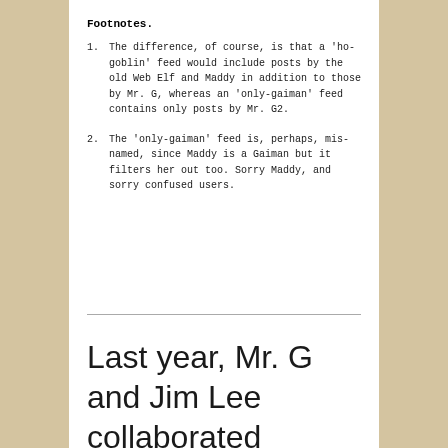Footnotes.
1. The difference, of course, is that a 'ho-goblin' feed would include posts by the old Web Elf and Maddy in addition to those by Mr. G, whereas an 'only-gaiman' feed contains only posts by Mr. G2.
2. The 'only-gaiman' feed is, perhaps, mis-named, since Maddy is a Gaiman but it filters her out too. Sorry Maddy, and sorry confused users.
Last year, Mr. G and Jim Lee collaborated